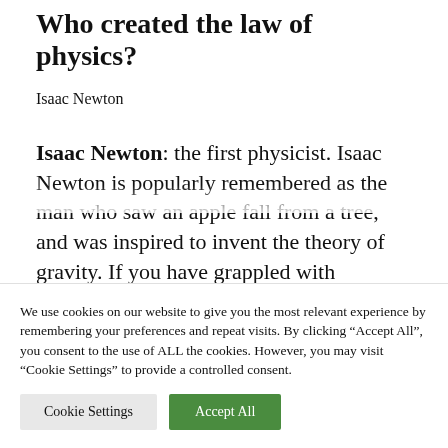Who created the law of physics?
Isaac Newton
Isaac Newton: the first physicist. Isaac Newton is popularly remembered as the man who saw an apple fall from a tree, and was inspired to invent the theory of gravity. If you have grappled with elementary physics then you know that he invented calculus and the
We use cookies on our website to give you the most relevant experience by remembering your preferences and repeat visits. By clicking “Accept All”, you consent to the use of ALL the cookies. However, you may visit “Cookie Settings” to provide a controlled consent.